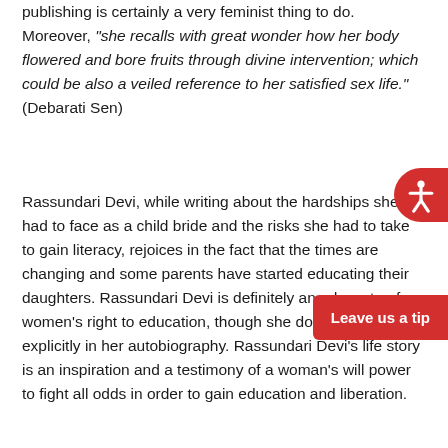publishing is certainly a very feminist thing to do. Moreover, "she recalls with great wonder how her body flowered and bore fruits through divine intervention; which could be also a veiled reference to her satisfied sex life." (Debarati Sen)
Rassundari Devi, while writing about the hardships she had to face as a child bride and the risks she had to take to gain literacy, rejoices in the fact that the times are changing and some parents have started educating their daughters. Rassundari Devi is definitely an advocate of women's right to education, though she doesn't mention it explicitly in her autobiography. Rassundari Devi's life story is an inspiration and a testimony of a woman's will power to fight all odds in order to gain education and liberation.